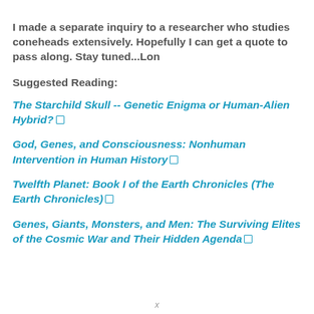I made a separate inquiry to a researcher who studies coneheads extensively. Hopefully I can get a quote to pass along. Stay tuned...Lon
Suggested Reading:
The Starchild Skull -- Genetic Enigma or Human-Alien Hybrid?
God, Genes, and Consciousness: Nonhuman Intervention in Human History
Twelfth Planet: Book I of the Earth Chronicles (The Earth Chronicles)
Genes, Giants, Monsters, and Men: The Surviving Elites of the Cosmic War and Their Hidden Agenda
x